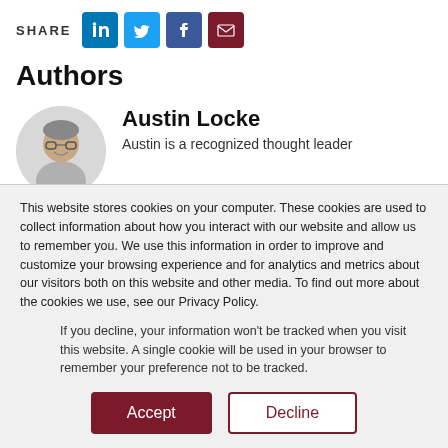SHARE [LinkedIn] [Twitter] [Facebook] [Email]
Authors
[Figure (photo): Circular headshot photo of Austin Locke, a man with glasses and short hair, smiling.]
Austin Locke
Austin is a recognized thought leader
This website stores cookies on your computer. These cookies are used to collect information about how you interact with our website and allow us to remember you. We use this information in order to improve and customize your browsing experience and for analytics and metrics about our visitors both on this website and other media. To find out more about the cookies we use, see our Privacy Policy.
If you decline, your information won't be tracked when you visit this website. A single cookie will be used in your browser to remember your preference not to be tracked.
Accept
Decline